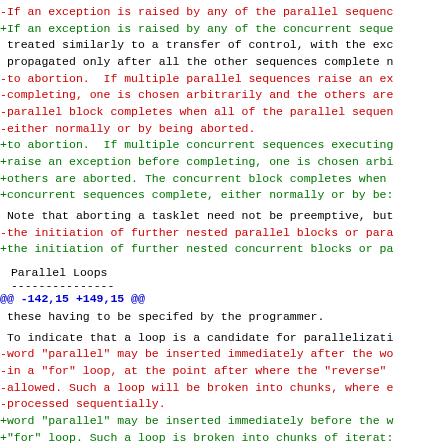-If an exception is raised by any of the parallel sequen
+If an exception is raised by any of the concurrent seque
 treated similarly to a transfer of control, with the exc
 propagated only after all the other sequences complete n
-to abortion.  If multiple parallel sequences raise an ex
-completing, one is chosen arbitrarily and the others are
-parallel block completes when all of the parallel sequen
-either normally or by being aborted.
+to abortion.  If multiple concurrent sequences executing
+raise an exception before completing, one is chosen arbi
+others are aborted. The concurrent block completes when
+concurrent sequences complete, either normally or by be:
Note that aborting a tasklet need not be preemptive, but
-the initiation of further nested parallel blocks or para
+the initiation of further nested concurrent blocks or pa
Parallel Loops
---------------
@@ -142,15 +149,15 @@
these having to be specifed by the programmer.
To indicate that a loop is a candidate for parallelizati
-word "parallel" may be inserted immediately after the wo
-in a "for" loop, at the point after where the "reverse"
-allowed. Such a loop will be broken into chunks, where e
-processed sequentially.
+word "parallel" may be inserted immediately before the w
+"for" loop. Such a loop is broken into chunks of iterat: